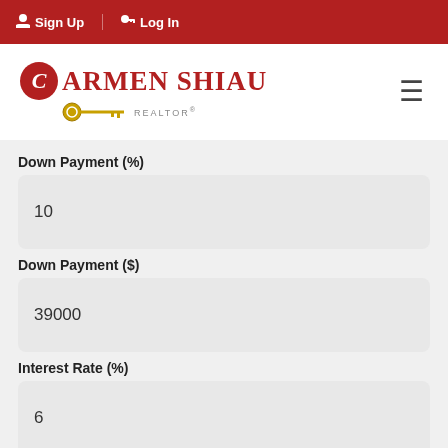Sign Up  Log In
[Figure (logo): Carmen Shiau Realtor logo with red circle C emblem and golden key]
Down Payment (%)
10
Down Payment ($)
39000
Interest Rate (%)
6
Tax Rate (%)
2.6